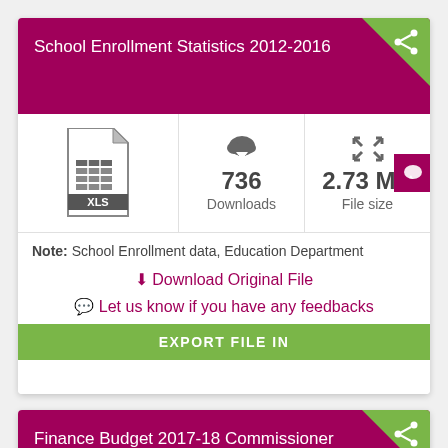School Enrollment Statistics 2012-2016
[Figure (illustration): XLS file icon with spreadsheet grid lines]
736 Downloads
2.73 MB File size
Note: School Enrollment data, Education Department
Download Original File
Let us know if you have any feedbacks
EXPORT FILE IN
Finance Budget 2017-18 Commissioner